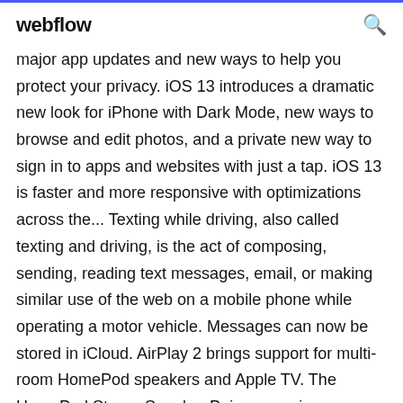webflow
major app updates and new ways to help you protect your privacy. iOS 13 introduces a dramatic new look for iPhone with Dark Mode, new ways to browse and edit photos, and a private new way to sign in to apps and websites with just a tap. iOS 13 is faster and more responsive with optimizations across the... Texting while driving, also called texting and driving, is the act of composing, sending, reading text messages, email, or making similar use of the web on a mobile phone while operating a motor vehicle. Messages can now be stored in iCloud. AirPlay 2 brings support for multi-room HomePod speakers and Apple TV. The HomePod Stereo Speaker Pair, now pairs